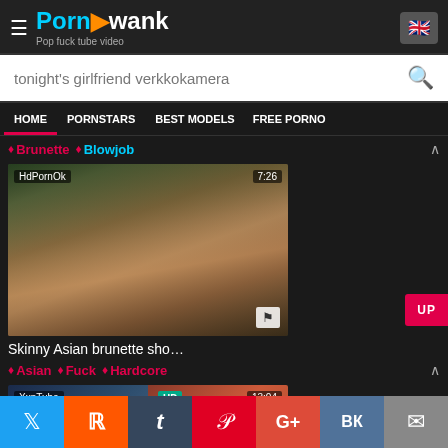PornAwank - Pop fuck tube video
tonight's girlfriend verkkokamera
HOME  PORNSTARS  BEST MODELS  FREE PORNO
Brunette  Blowjob
[Figure (screenshot): Video thumbnail showing HdPornOk label, duration 7:26]
Skinny Asian brunette sho...
Asian  Fuck  Hardcore
[Figure (screenshot): Video thumbnail showing XxnTube label, HD badge, duration 13:04]
Twitter Reddit Tumblr Pinterest G+ VK Mail social share buttons